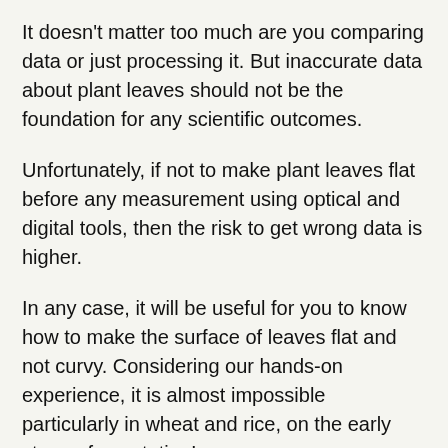It doesn't matter too much are you comparing data or just processing it. But inaccurate data about plant leaves should not be the foundation for any scientific outcomes.
Unfortunately, if not to make plant leaves flat before any measurement using optical and digital tools, then the risk to get wrong data is higher.
In any case, it will be useful for you to know how to make the surface of leaves flat and not curvy. Considering our hands-on experience, it is almost impossible particularly in wheat and rice, on the early stage of vegetation!
Methods How to Make Plant Leaves Flat